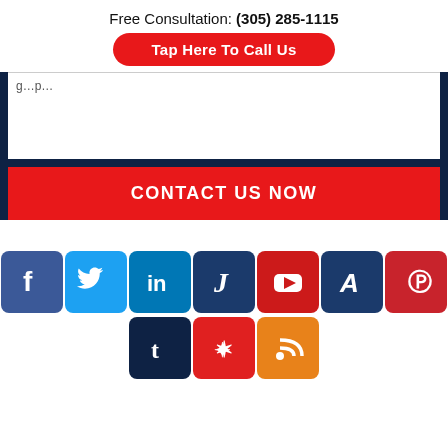Free Consultation: (305) 285-1115
Tap Here To Call Us
CONTACT US NOW
[Figure (infographic): Row of social media icons: Facebook, Twitter, LinkedIn, Justia, YouTube, Avvo, Pinterest (top row); Tumblr, Yelp, RSS (bottom row)]